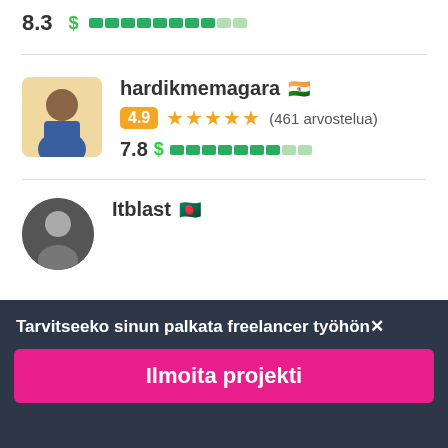8.3  $ ████████░░ (top bar score)
[Figure (screenshot): Freelancer profile card for hardikmemagara with Indian flag, 4.9 orange badge, 5 orange stars, (461 arvostelua), score 7.8 and green dollar bar]
hardikmemagara 🇮🇳
4.9 ★★★★★ (461 arvostelua)
7.8 $████████░░
[Figure (screenshot): Partial profile card for Itblast with Bangladesh flag at bottom of list]
Itblast 🇧🇩
Tarvitseeko sinun palkata freelancer työhön✕
Ilmoita projekti